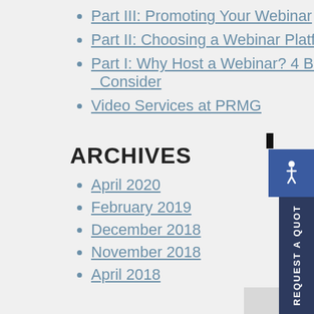Part III: Promoting Your Webinar
Part II: Choosing a Webinar Platform
Part I: Why Host a Webinar? 4 Benefits to Consider
Video Services at PRMG
ARCHIVES
April 2020
February 2019
December 2018
November 2018
April 2018
[Figure (infographic): Accessibility icon button (blue square with wheelchair symbol) and a dark navy 'REQUEST A QUOTE' vertical sidebar button on the right edge of the page]